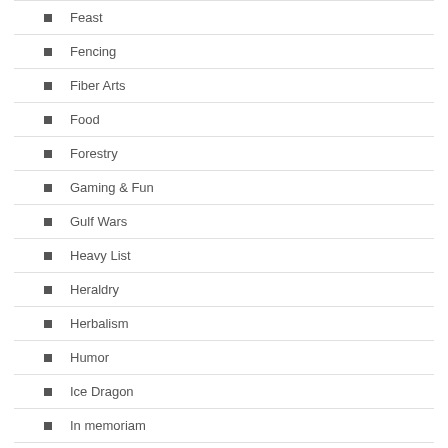Feast
Fencing
Fiber Arts
Food
Forestry
Gaming & Fun
Gulf Wars
Heavy List
Heraldry
Herbalism
Humor
Ice Dragon
In memoriam
Interviews
Kingdom News